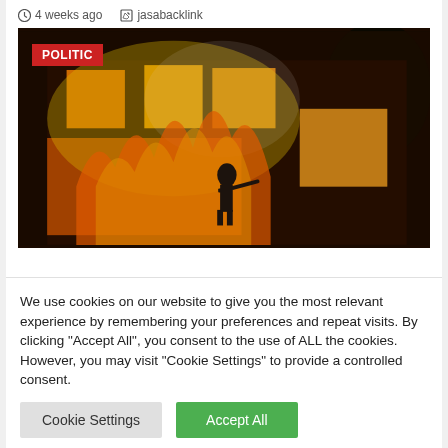4 weeks ago   jasabacklink
[Figure (photo): A firefighter silhouetted against a large building fully engulfed in flames, with orange fire visible through multiple windows and trees in the background. A red 'POLITIC' badge is overlaid in the top-left corner.]
We use cookies on our website to give you the most relevant experience by remembering your preferences and repeat visits. By clicking "Accept All", you consent to the use of ALL the cookies. However, you may visit "Cookie Settings" to provide a controlled consent.
Cookie Settings
Accept All